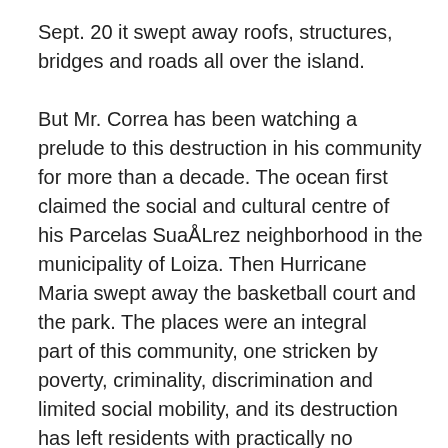Sept. 20 it swept away roofs, structures, bridges and roads all over the island.

But Mr. Correa has been watching a prelude to this destruction in his community for more than a decade. The ocean first claimed the social and cultural centre of his Parcelas SuaÅLrez neighborhood in the municipality of Loiza. Then Hurricane Maria swept away the basketball court and the park. The places were an integral part of this community, one stricken by poverty, criminality, discrimination and limited social mobility, and its destruction has left residents with practically no options.